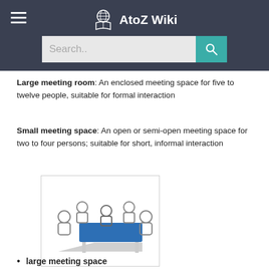AtoZ Wiki
Large meeting room: An enclosed meeting space for five to twelve people, suitable for formal interaction
Small meeting space: An open or semi-open meeting space for two to four persons; suitable for short, informal interaction
[Figure (illustration): Illustration of people sitting around a table with a blue tabletop, viewed from a slight overhead angle. People are depicted as simple circle-headed figures seated on chairs around the rectangular table.]
large meeting space